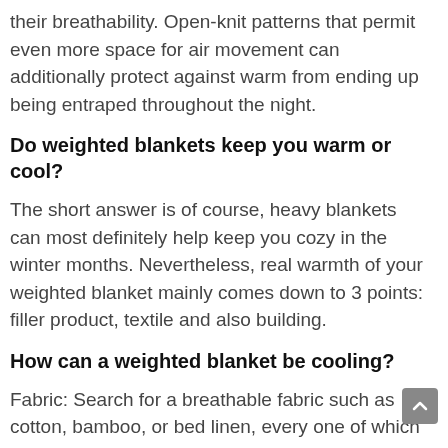their breathability. Open-knit patterns that permit even more space for air movement can additionally protect against warm from ending up being entraped throughout the night.
Do weighted blankets keep you warm or cool?
The short answer is of course, heavy blankets can most definitely help keep you cozy in the winter months. Nevertheless, real warmth of your weighted blanket mainly comes down to 3 points: filler product, textile and also building.
How can a weighted blanket be cooling?
Fabric: Search for a breathable fabric such as cotton, bamboo, or bed linen, every one of which are naturally cooling dow Filling: If a weighted blanket is filled with heavier content it